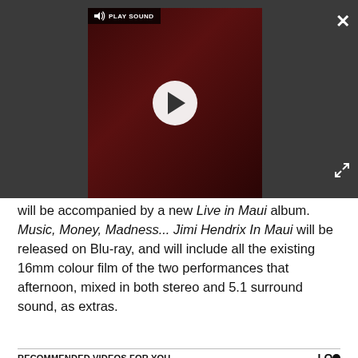[Figure (screenshot): Video player overlay with dark background, showing a paused video with a play button circle in the center, a 'PLAY SOUND' label with speaker icon at top left, a close (X) button at top right, and an expand icon at bottom right.]
will be accompanied by a new Live in Maui album. Music, Money, Madness... Jimi Hendrix In Maui will be released on Blu-ray, and will include all the existing 16mm colour film of the two performances that afternoon, mixed in both stereo and 5.1 surround sound, as extras.
RECOMMENDED VIDEOS FOR YOU...